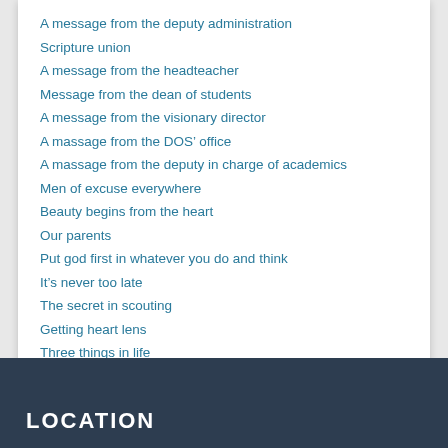A message from the deputy administration
Scripture union
A message from the headteacher
Message from the dean of students
A message from the visionary director
A massage from the DOS’ office
A massage from the deputy in charge of academics
Men of excuse everywhere
Beauty begins from the heart
Our parents
Put god first in whatever you do and think
It’s never too late
The secret in scouting
Getting heart lens
Three things in life
Success
LOCATION